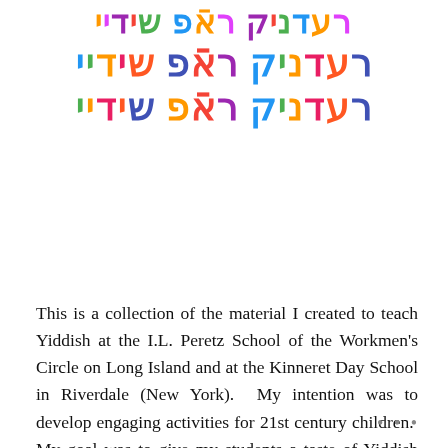יידיש פאר קינדער (Yiddish for Children) — multicolor Hebrew/Yiddish title displayed in three lines with rainbow-colored letters
This is a collection of the material I created to teach Yiddish at the I.L. Peretz School of the Workmen's Circle on Long Island and at the Kinneret Day School in Riverdale (New York).  My intention was to develop engaging activities for 21st century children.  My goal was to give my students a taste of Yiddish with the hope that they might later seek to learn more.   I am sharing these resources with teachers, parents, and children.  Feel free to explore the site as you embark on or continue your